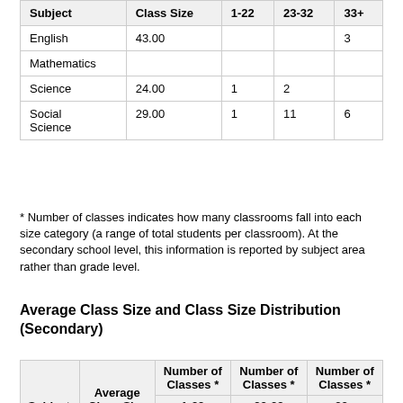| Subject | Class Size | 1-22 | 23-32 | 33+ |
| --- | --- | --- | --- | --- |
| English | 43.00 |  |  | 3 |
| Mathematics |  |  |  |  |
| Science | 24.00 | 1 | 2 |  |
| Social Science | 29.00 | 1 | 11 | 6 |
* Number of classes indicates how many classrooms fall into each size category (a range of total students per classroom). At the secondary school level, this information is reported by subject area rather than grade level.
Average Class Size and Class Size Distribution (Secondary) (School Year 2018–2019)
| Subject | Average Class Size | Number of Classes * 1-22 | Number of Classes * 23-32 | Number of Classes * 33+ |
| --- | --- | --- | --- | --- |